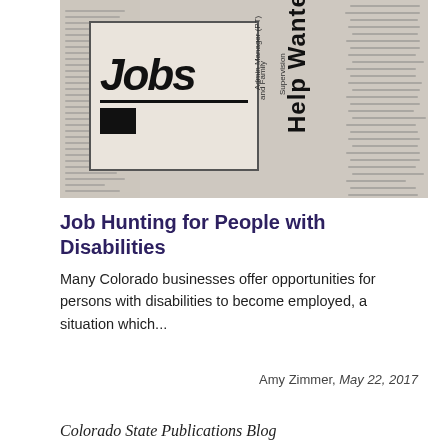[Figure (photo): Close-up photograph of a newspaper with 'Jobs' and 'Help Wanted' classified ad sections visible]
Job Hunting for People with Disabilities
Many Colorado businesses offer opportunities for persons with disabilities to become employed, a situation which...
Amy Zimmer, May 22, 2017
Colorado State Publications Blog